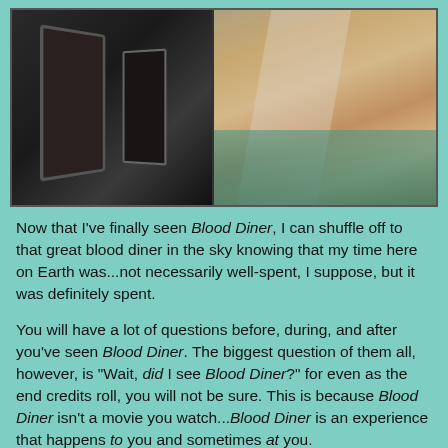[Figure (photo): A still from the movie Blood Diner showing two scenes side by side: left side is dark with shadowy figures and equipment, right side shows a woman in exotic/belly dancer costume with flowing fabric.]
Now that I've finally seen Blood Diner, I can shuffle off to that great blood diner in the sky knowing that my time here on Earth was...not necessarily well-spent, I suppose, but it was definitely spent.
You will have a lot of questions before, during, and after you've seen Blood Diner. The biggest question of them all, however, is "Wait, did I see Blood Diner?" for even as the end credits roll, you will not be sure. This is because Blood Diner isn't a movie you watch...Blood Diner is an experience that happens to you and sometimes at you.